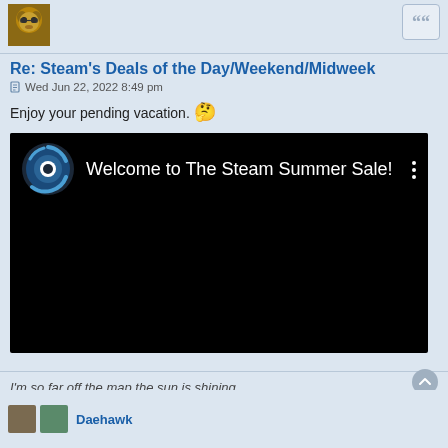[Figure (photo): User avatar thumbnail (brown bear/animal with sunglasses)]
Re: Steam's Deals of the Day/Weekend/Midweek
Wed Jun 22, 2022 8:49 pm
Enjoy your pending vacation. 🤔
[Figure (screenshot): Embedded YouTube-style video thumbnail: black background with Steam logo and text 'Welcome to The Steam Summer Sale!' with three-dot menu icon]
I'm so far off the map the sun is shining
Daehawk